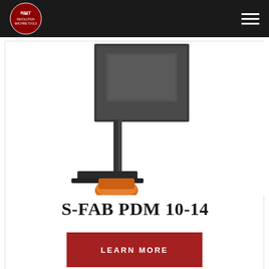RMT Revolution Machine Tools navigation bar
[Figure (photo): Industrial plate drilling machine (S-FAB PDM 10-14) with dark metal frame and orange foot pedal, shown against white background]
S-FAB PDM 10-14
LEARN MORE
[Figure (photo): Red and dark grey industrial horizontal band saw machine (S-FAB brand) shown at an angle against white background]